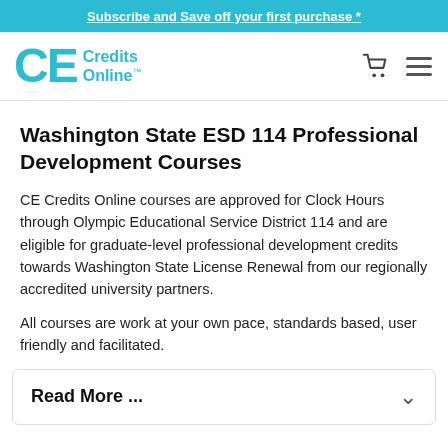Subscribe and Save off your first purchase *
[Figure (logo): CE Credits Online logo with teal CE letters and Credits Online text]
Washington State ESD 114 Professional Development Courses
CE Credits Online courses are approved for Clock Hours through Olympic Educational Service District 114 and are eligible for graduate-level professional development credits towards Washington State License Renewal from our regionally accredited university partners.
All courses are work at your own pace, standards based, user friendly and facilitated.
Read More ...